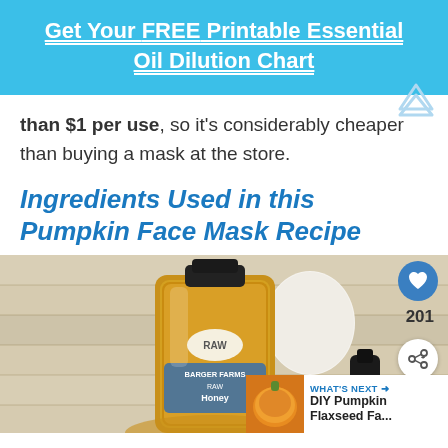Get Your FREE Printable Essential Oil Dilution Chart
than $1 per use, so it's considerably cheaper than buying a mask at the store.
Ingredients Used in this Pumpkin Face Mask Recipe
[Figure (photo): A bottle of Barger Farms RAW Honey on a white-washed wood surface, with a white egg and other ingredients in the background. Social sharing buttons (heart, share) and a count of 201 are overlaid on the right side. A 'What's Next' thumbnail shows DIY Pumpkin Flaxseed Fa...]